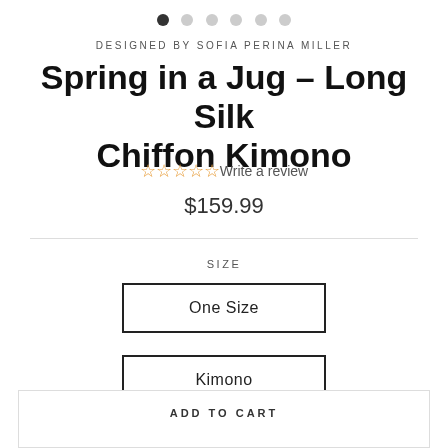[Figure (other): Image carousel dot indicators: one filled dark circle followed by five empty grey circles]
DESIGNED BY SOFIA PERINA MILLER
Spring in a Jug – Long Silk Chiffon Kimono
☆☆☆☆☆ Write a review
$159.99
SIZE
One Size
Kimono
ADD TO CART